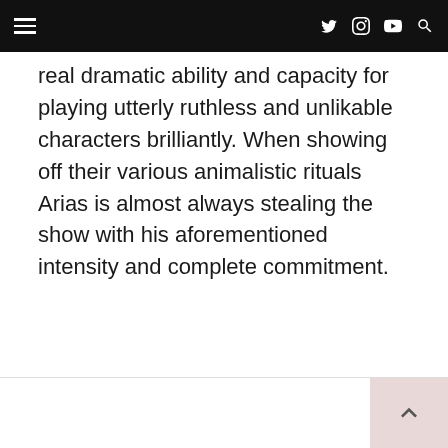Navigation header with hamburger menu and social icons (Twitter, Instagram, YouTube, Search)
real dramatic ability and capacity for playing utterly ruthless and unlikable characters brilliantly. When showing off their various animalistic rituals Arias is almost always stealing the show with his aforementioned intensity and complete commitment.